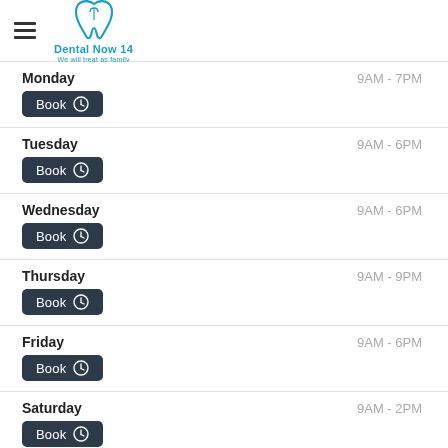[Figure (logo): Dental Now 14 logo with tooth icon in blue, tagline: We will treat as family]
Monday  9AM - 7PM  Book
Tuesday  9AM - 6PM  Book
Wednesday  9AM - 6PM  Book
Thursday  9AM - 9PM  Book
Friday  9AM - 6PM  Book
Saturday  9AM - 2PM  Book